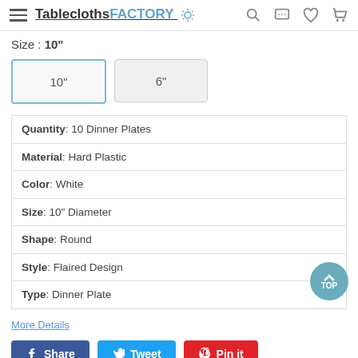TableclothsFACTORY
Size : 10"
10" | 6"
| Quantity: 10 Dinner Plates |
| Material: Hard Plastic |
| Color: White |
| Size: 10" Diameter |
| Shape: Round |
| Style: Flaired Design |
| Type: Dinner Plate |
More Details
Share  Tweet  Pin it